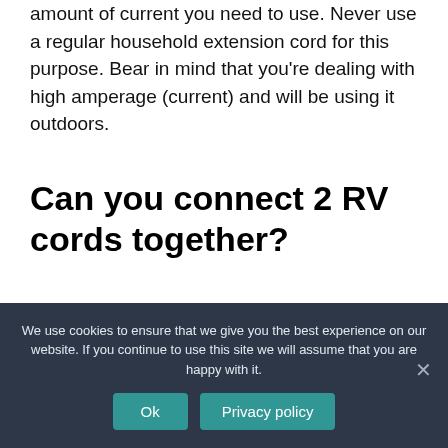amount of current you need to use. Never use a regular household extension cord for this purpose. Bear in mind that you're dealing with high amperage (current) and will be using it outdoors.
Can you connect 2 RV cords together?
If you want to connect the two “camper” cables together, you’ll have to remove the
We use cookies to ensure that we give you the best experience on our website. If you continue to use this site we will assume that you are happy with it.